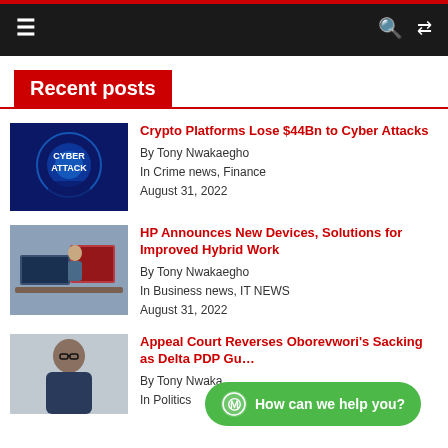Navigation bar with hamburger menu, search and shuffle icons
Recent posts
[Figure (photo): Cyber attack themed image with glowing blue digital globe and text CYBER ATTACK]
Crypto Platforms Lose $44Bn to Cyber Attacks
By Tony Nwakaegho
In Crime news, Finance
August 31, 2022
[Figure (photo): Person working at a computer workstation in an office setting]
HP Announces New Devices, Solutions for Improved Hybrid Work
By Tony Nwakaegho
In Business news, IT NEWS
August 31, 2022
[Figure (photo): Smiling man in suit and glasses, portrait photo]
Appeal Court Reverses Oborevwori's Sacking as Delta PDP Gu…
By Tony Nwaka…
In Politics